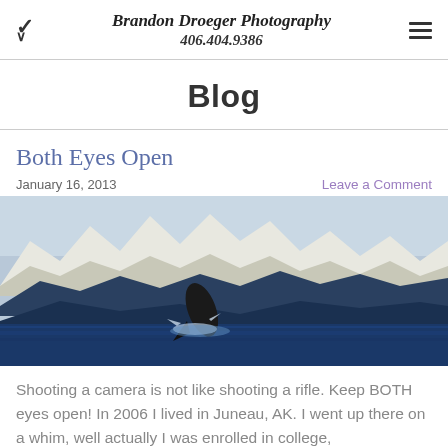Brandon Droeger Photography 406.404.9386
Blog
Both Eyes Open
January 16, 2013    Leave a Comment
[Figure (photo): A humpback whale breaching in Juneau, AK waters with snow-capped mountains in the background]
Shooting a camera is not like shooting a rifle. Keep BOTH eyes open! In 2006 I lived in Juneau, AK. I went up there on a whim, well actually I was enrolled in college,